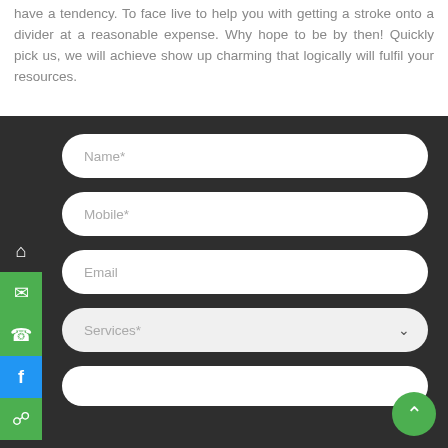have a tendency. To face live to help you with getting a stroke onto a divider at a reasonable expense. Why hope to be by then! Quickly pick us, we will achieve show up charming that logically will fulfil your resources.
[Figure (screenshot): Dark-background contact form with rounded input fields for Name*, Mobile*, Email, Services* (dropdown), and a partially visible last field. A vertical sidebar on the left shows icons for home (dark), email (green), phone (green), Facebook (blue), and WhatsApp (green). A green FAB scroll-to-top button appears at bottom right.]